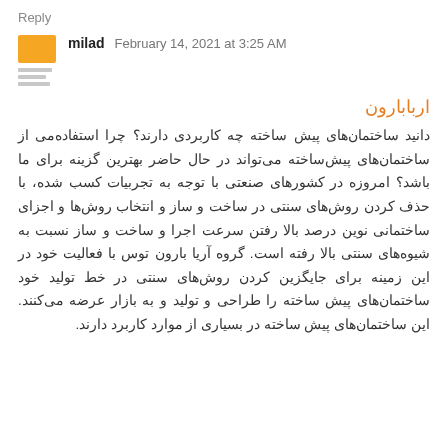Reply
milad  February 14, 2021 at 3:25 AM
اربابارون
دانید ساختمان‌های پیش ساخته چه کاربردی دارند؟ چرا استفاده‌می از ساختمان‌های پیش‌ساخته می‌تواند در حال حاضر بهترین گزینه برای ما باشد؟ امروزه در کشورهای صنعتی با توجه به تجربیات کسب شده، با حذف کردن روش‌های سنتی در ساخت و ساز و انتخاب روش‌ها و اجزای ساختمانی نوین درصد بالا رفتن سرعت اجرا و ساخت و ساز نسبت به شیوه‌های سنتی بالا رفته است. گروه آریا بارون توس با فعالیت خود در این زمینه برای جایگزین کردن روش‌های سنتی در خط تولید خود ساختمان‌های پیش ساخته را طراحی و تولید و به بازار عرضه می‌کنند. این ساختمان‌های پیش ساخته در بسیاری از موارد کاربرد دارند.